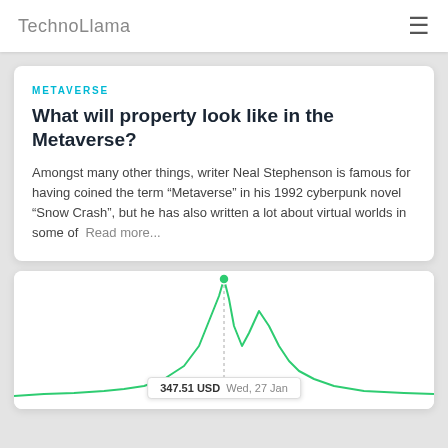TechnoLlama
METAVERSE
What will property look like in the Metaverse?
Amongst many other things, writer Neal Stephenson is famous for having coined the term “Metaverse” in his 1992 cyberpunk novel “Snow Crash”, but he has also written a lot about virtual worlds in some of  Read more...
[Figure (line-chart): Line chart showing price data with a prominent peak marked at 347.51 USD on Wed, 27 Jan. The chart shows a green line with two peaks, a tooltip visible at the bottom reading '347.51 USD Wed, 27 Jan'.]